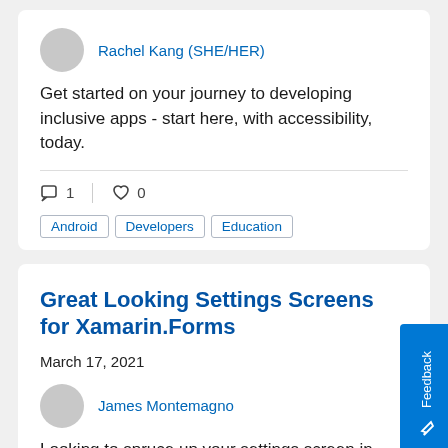Rachel Kang (SHE/HER)
Get started on your journey to developing inclusive apps - start here, with accessibility, today.
1  0
Android  Developers  Education
Great Looking Settings Screens for Xamarin.Forms
March 17, 2021
James Montemagno
Looking to spruce up your settings screen in your Xamarin.Forms app? Checkout